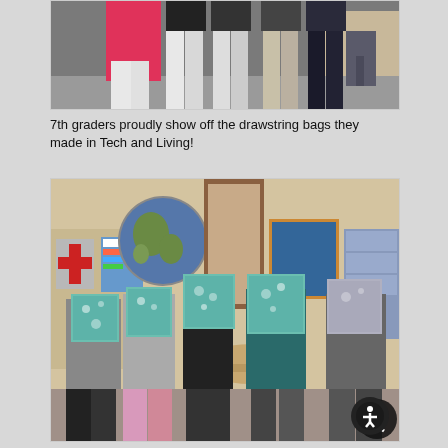[Figure (photo): Top portion of a photo showing 7th grade students standing in a classroom, partially cut off at top, holding pink and dark-colored bags.]
7th graders proudly show off the drawstring bags they made in Tech and Living!
[Figure (photo): Five 7th grade students standing in a classroom holding up teal/green patterned drawstring bags in front of their faces. A world map globe, bulletin boards, and classroom furniture are visible in the background. An accessibility icon button appears in the lower right corner.]